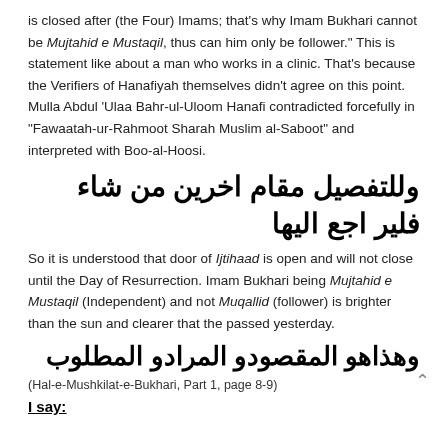is closed after (the Four) Imams; that's why Imam Bukhari cannot be Mujtahid e Mustaqil, thus can him only be follower." This is statement like about a man who works in a clinic. That's because the Verifiers of Hanafiyah themselves didn't agree on this point. Mulla Abdul 'Ulaa Bahr-ul-Uloom Hanafi contradicted forcefully in "Fawaatah-ur-Rahmoot Sharah Muslim al-Saboot" and interpreted with Boo-al-Hoosi.
وللتفصيل مقام اخرين من شاء فلير اجع اليها
So it is understood that door of Ijtihaad is open and will not close until the Day of Resurrection. Imam Bukhari being Mujtahid e Mustaqil (Independent) and not Muqallid (follower) is brighter than the sun and clearer that the passed yesterday.
وهذاهو المقصودو المرادو المطلوب
(Hal-e-Mushkilat-e-Bukhari, Part 1, page 8-9)
I say: